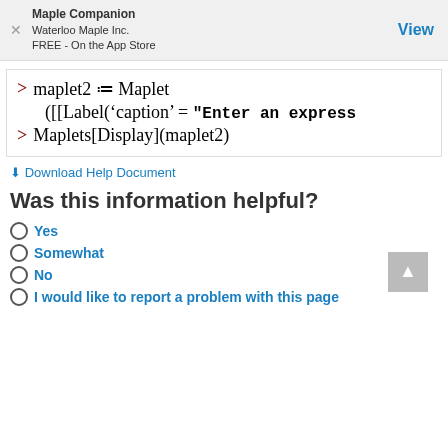Maple Companion
Waterloo Maple Inc.
FREE - On the App Store
View
> maplet2 := Maplet([[Label('caption' = "Enter an express
Maplets[Display](maplet2)
Download Help Document
Was this information helpful?
Yes
Somewhat
No
I would like to report a problem with this page